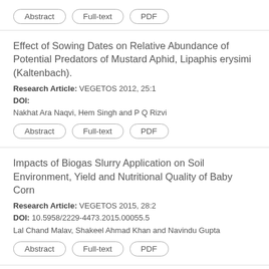Abstract | Full-text | PDF (buttons)
Effect of Sowing Dates on Relative Abundance of Potential Predators of Mustard Aphid, Lipaphis erysimi (Kaltenbach).
Research Article: VEGETOS 2012, 25:1
DOI:
Nakhat Ara Naqvi, Hem Singh and P Q Rizvi
Abstract | Full-text | PDF (buttons)
Impacts of Biogas Slurry Application on Soil Environment, Yield and Nutritional Quality of Baby Corn
Research Article: VEGETOS 2015, 28:2
DOI: 10.5958/2229-4473.2015.00055.5
Lal Chand Malav, Shakeel Ahmad Khan and Navindu Gupta
Abstract | Full-text | PDF (buttons)
Efficient organic solvent system used to separate